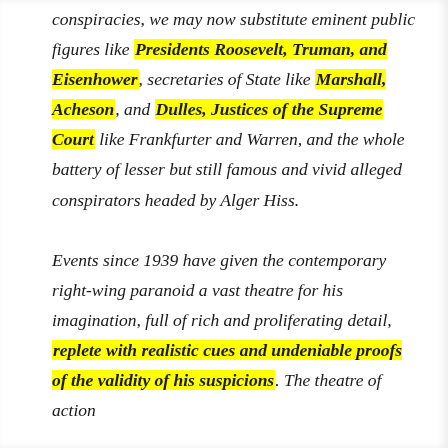conspiracies, we may now substitute eminent public figures like Presidents Roosevelt, Truman, and Eisenhower, secretaries of State like Marshall, Acheson, and Dulles, Justices of the Supreme Court like Frankfurter and Warren, and the whole battery of lesser but still famous and vivid alleged conspirators headed by Alger Hiss.

Events since 1939 have given the contemporary right-wing paranoid a vast theatre for his imagination, full of rich and proliferating detail, replete with realistic cues and undeniable proofs of the validity of his suspicions. The theatre of action